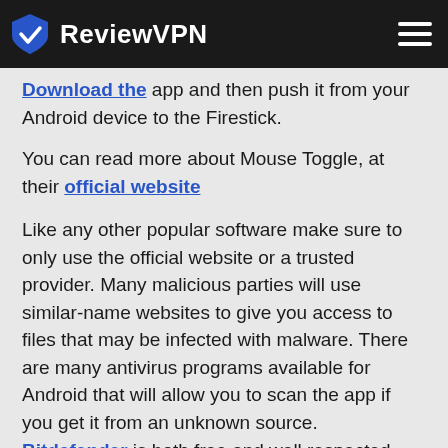ReviewVPN
app and then push it from your Android device to the Firestick.
You can read more about Mouse Toggle, at their official website
Like any other popular software make sure to only use the official website or a trusted provider. Many malicious parties will use similar-name websites to give you access to files that may be infected with malware. There are many antivirus programs available for Android that will allow you to scan the app if you get it from an unknown source.
Bitdefender is both free and well respected.